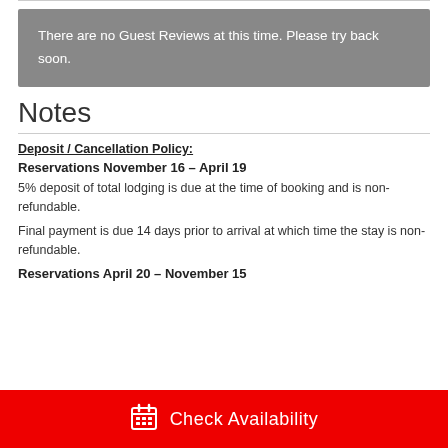There are no Guest Reviews at this time. Please try back soon.
Notes
Deposit / Cancellation Policy:
Reservations November 16 – April 19
5% deposit of total lodging is due at the time of booking and is non-refundable.
Final payment is due 14 days prior to arrival at which time the stay is non-refundable.
Reservations April 20 – November 15
Check Availability